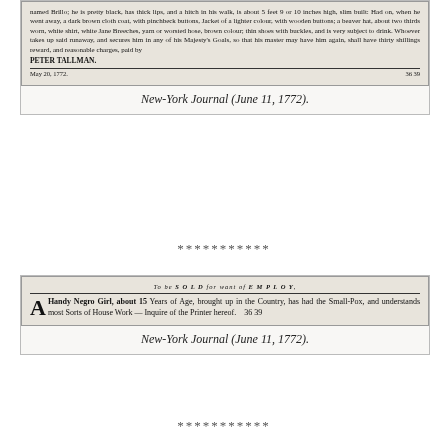[Figure (photo): Scanned historical newspaper advertisement showing a runaway slave notice signed by Peter Tallman, from the New-York Journal, June 11, 1772. Text describes a man named Brillo, his appearance and clothing, and offers thirty shillings reward.]
New-York Journal (June 11, 1772).
***********
[Figure (photo): Scanned historical newspaper advertisement from the New-York Journal, June 11, 1772. Text reads: 'To be SOLD for want of EMPLOY, A Handy Negro Girl, about 15 Years of Age, brought up in the Country, has had the Small-Pox, and understands most Sorts of House Work — Inquire of the Printer hereof. 36 39']
New-York Journal (June 11, 1772).
***********